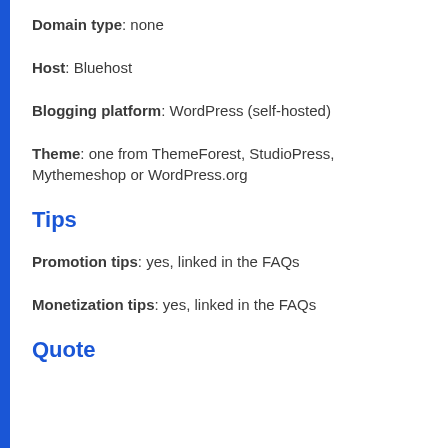Domain type: none
Host: Bluehost
Blogging platform: WordPress (self-hosted)
Theme: one from ThemeForest, StudioPress, Mythemeshop or WordPress.org
Tips
Promotion tips: yes, linked in the FAQs
Monetization tips: yes, linked in the FAQs
Quote